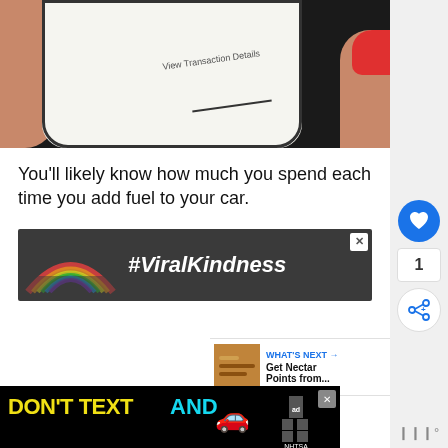[Figure (photo): A hand with red fingernails holding a smartphone showing a screen with text 'View Transaction Details']
You'll likely know how much you spend each time you add fuel to your car.
[Figure (photo): Advertisement banner with rainbow graphic and text '#ViralKindness' on dark background]
[Figure (photo): WHAT'S NEXT panel with thumbnail image, text: 'Get Nectar Points from...']
[Figure (photo): DON'T TEXT AND [car emoji] advertisement banner with ad badge and NHTSA logo]